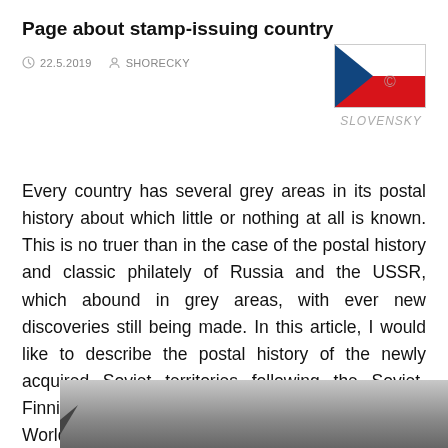Page about stamp-issuing country
22.5.2019   SHORECKY
[Figure (illustration): Czech flag — white top half, red bottom half, blue triangle on left]
SLOVENSKY
Every country has several grey areas in its postal history about which little or nothing at all is known. This is no truer than in the case of the postal history and classic philately of Russia and the USSR, which abound in grey areas, with ever new discoveries still being made. In this article, I would like to describe the postal history of the newly acquired Soviet territories following the Soviet-Finnish “Winter War” in 1939 and in the years of World War II.
[Figure (photo): Black and white historical photograph (partially visible at bottom of page)]